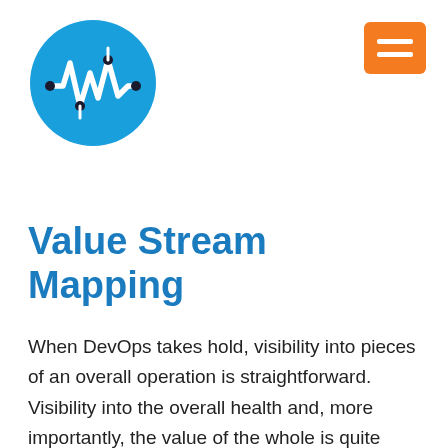[Figure (logo): Circular blue logo with white waveform/signal icon and circuit dots]
[Figure (other): Orange hamburger menu button (three horizontal white bars on orange background)]
Value Stream Mapping
When DevOps takes hold, visibility into pieces of an overall operation is straightforward. Visibility into the overall health and, more importantly, the value of the whole is quite another matter. Disparate log streams and